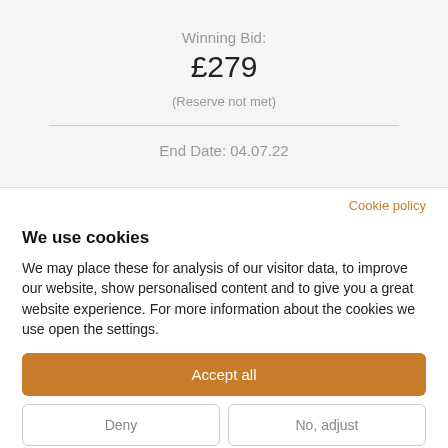Winning Bid:
£279
(Reserve not met)
End Date: 04.07.22
Cookie policy
We use cookies
We may place these for analysis of our visitor data, to improve our website, show personalised content and to give you a great website experience. For more information about the cookies we use open the settings.
Accept all
Deny
No, adjust